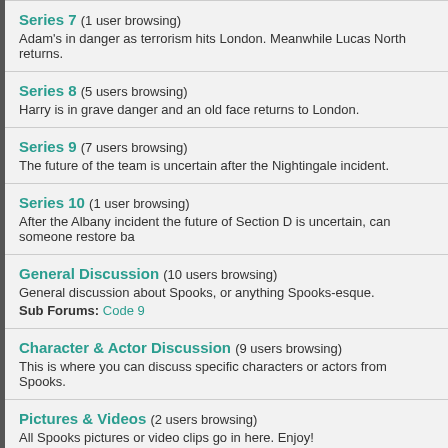Series 7 (1 user browsing)
Adam's in danger as terrorism hits London. Meanwhile Lucas North returns.
Series 8 (5 users browsing)
Harry is in grave danger and an old face returns to London.
Series 9 (7 users browsing)
The future of the team is uncertain after the Nightingale incident.
Series 10 (1 user browsing)
After the Albany incident the future of Section D is uncertain, can someone restore ba
General Discussion (10 users browsing)
General discussion about Spooks, or anything Spooks-esque.
Sub Forums: Code 9
Character & Actor Discussion (9 users browsing)
This is where you can discuss specific characters or actors from Spooks.
Pictures & Videos (2 users browsing)
All Spooks pictures or video clips go in here. Enjoy!
Fan Fiction (3 users browsing)
Fan-fiction goes here, all new threads will be approved by a Staff member.
Sub Forums: Ruth's Diary